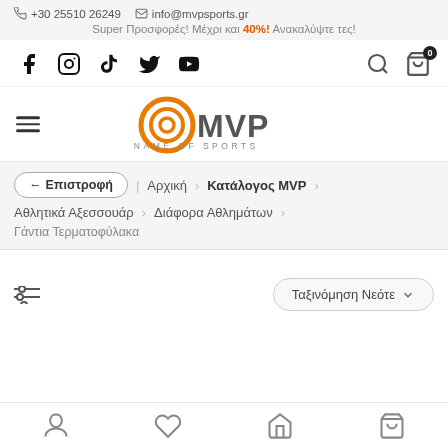+30 25510 26249   info@mvpsports.gr
Super Προσφορές! Μέχρι και 40%! Ανακαλύψτε τες!
[Figure (screenshot): Social media icons: Facebook, Instagram, TikTok, Twitter/X, YouTube and search/cart icons with badge showing 0]
[Figure (logo): MVP Sports logo - orange circular target icon with MVP text and IN THE NAME OF SPORTS tagline]
← Επιστροφή  Αρχική > Κατάλογος MVP > Αθλητικά Αξεσσουάρ > Διάφορα Αθλημάτων > Γάντια Τερματοφύλακα
Ταξινόμηση Νεότε